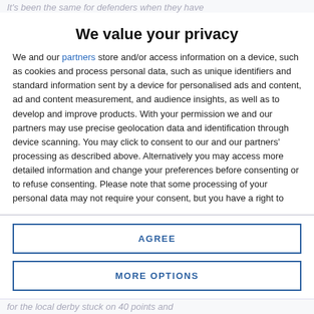It's been the same for defenders when they have
We value your privacy
We and our partners store and/or access information on a device, such as cookies and process personal data, such as unique identifiers and standard information sent by a device for personalised ads and content, ad and content measurement, and audience insights, as well as to develop and improve products. With your permission we and our partners may use precise geolocation data and identification through device scanning. You may click to consent to our and our partners' processing as described above. Alternatively you may access more detailed information and change your preferences before consenting or to refuse consenting. Please note that some processing of your personal data may not require your consent, but you have a right to
AGREE
MORE OPTIONS
for the local derby stuck on 40 points and